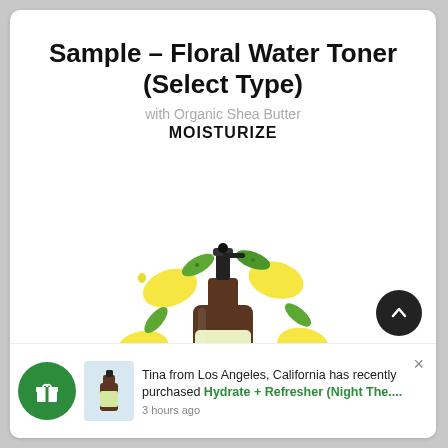Sample – Floral Water Toner (Select Type)
with Organic Shea Butter
MOISTURIZE
[Figure (photo): A brown glass spray bottle with a 'Lemon Grass' label, surrounded by illustrated lemons and green leaves on a white background.]
Tina from Los Angeles, California has recently purchased Hydrate + Refresher (Night The....
3 hours ago